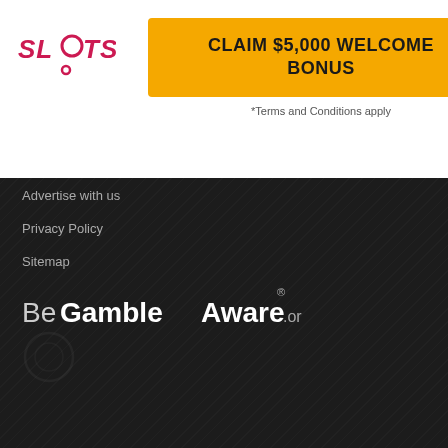[Figure (logo): SLOTS.LV logo in pink/red italic bold text]
CLAIM $5,000 WELCOME BONUS
*Terms and Conditions apply
Advertise with us
Privacy Policy
Sitemap
[Figure (logo): BeGambleAware.org logo in white/grey bold text with registered trademark symbol]